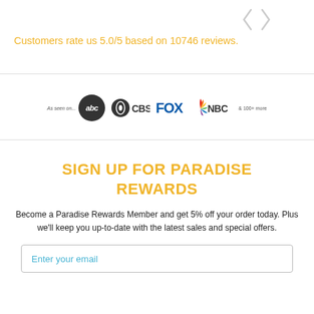[Figure (other): Navigation left/right chevron arrows in light gray]
Customers rate us 5.0/5 based on 10746 reviews.
[Figure (logo): As seen on... ABC, CBS, FOX, NBC & 100+ more logos]
SIGN UP FOR PARADISE REWARDS
Become a Paradise Rewards Member and get 5% off your order today. Plus we'll keep you up-to-date with the latest sales and special offers.
Enter your email